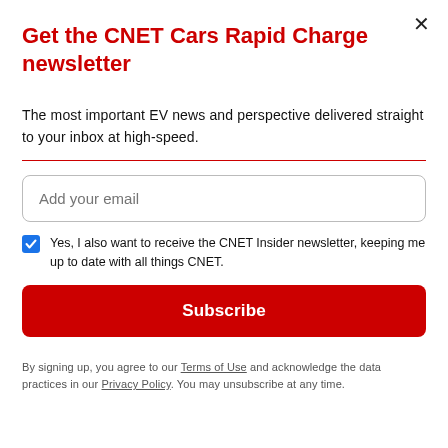Get the CNET Cars Rapid Charge newsletter
The most important EV news and perspective delivered straight to your inbox at high-speed.
Add your email
Yes, I also want to receive the CNET Insider newsletter, keeping me up to date with all things CNET.
Subscribe
By signing up, you agree to our Terms of Use and acknowledge the data practices in our Privacy Policy. You may unsubscribe at any time.